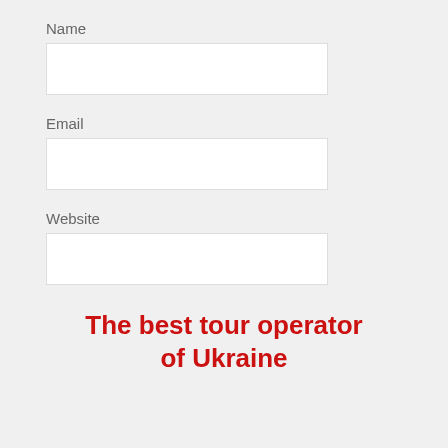Name
Email
Website
Post Comment
[Figure (logo): Ukraine Tourism logo with red heart shape and text 'UKRAINE TOURISM' with tagline 'The best tour operator of Ukraine']
The best tour operator of Ukraine